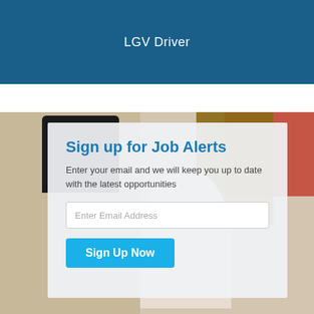LGV Driver
[Figure (photo): Background photo of a food/restaurant scene with signs, boxes and figures]
Sign up for Job Alerts
Enter your email and we will keep you up to date with the latest opportunities
Enter Email Address
Sign Up Now